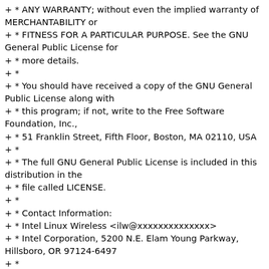+ * ANY WARRANTY; without even the implied warranty of MERCHANTABILITY or
+ * FITNESS FOR A PARTICULAR PURPOSE. See the GNU General Public License for
+ * more details.
+ *
+ * You should have received a copy of the GNU General Public License along with
+ * this program; if not, write to the Free Software Foundation, Inc.,
+ * 51 Franklin Street, Fifth Floor, Boston, MA 02110, USA
+ *
+ * The full GNU General Public License is included in this distribution in the
+ * file called LICENSE.
+ *
+ * Contact Information:
+ * Intel Linux Wireless <ilw@xxxxxxxxxxxxxx>
+ * Intel Corporation, 5200 N.E. Elam Young Parkway, Hillsboro, OR 97124-6497
+ *
+
************************************************************
+
+#if !defined(__IWLWIFI_DEVICE_TRACE_IO) ||
defined(TRACE_HEADER_MULTI_READ)